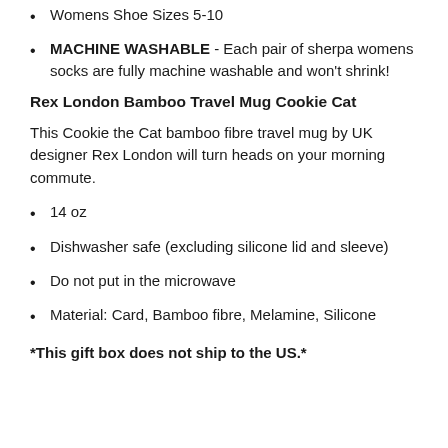Womens Shoe Sizes 5-10
MACHINE WASHABLE - Each pair of sherpa womens socks are fully machine washable and won't shrink!
Rex London Bamboo Travel Mug Cookie Cat
This Cookie the Cat bamboo fibre travel mug by UK designer Rex London will turn heads on your morning commute.
14 oz
Dishwasher safe (excluding silicone lid and sleeve)
Do not put in the microwave
Material: Card, Bamboo fibre, Melamine, Silicone
*This gift box does not ship to the US.*